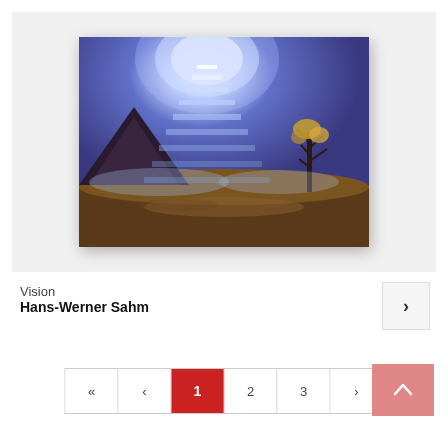[Figure (illustration): A painting titled 'Vision' showing a luminous stairway ascending to a bright light in a purple-blue sky, with a rocky mountain on the left and a bare tree on the right, set against a landscape.]
Vision
Hans-Werner Sahm
‹‹  ‹  1  2  3  ›